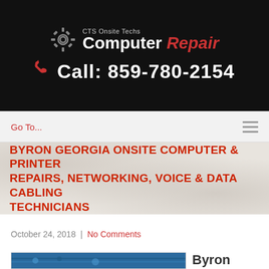CTS Onsite Techs Computer Repair — Call: 859-780-2154
BYRON GEORGIA ONSITE COMPUTER & PRINTER REPAIRS, NETWORKING, VOICE & DATA CABLING TECHNICIANS
October 24, 2018 | No Comments
[Figure (photo): Thumbnail photo showing computer networking cables/keyboard, blue-toned]
Byron